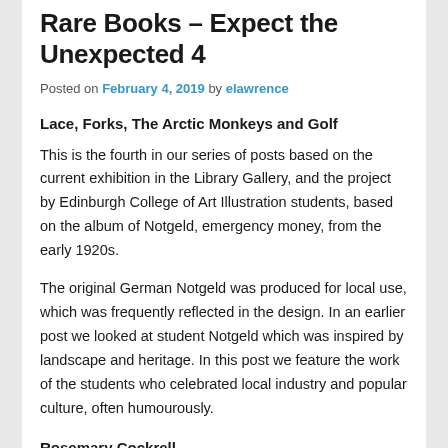Rare Books – Expect the Unexpected 4
Posted on February 4, 2019 by elawrence
Lace, Forks, The Arctic Monkeys and Golf
This is the fourth in our series of posts based on the current exhibition in the Library Gallery, and the project by Edinburgh College of Art Illustration students, based on the album of Notgeld, emergency money, from the early 1920s.
The original German Notgeld was produced for local use, which was frequently reflected in the design. In an earlier post we looked at student Notgeld which was inspired by landscape and heritage. In this post we feature the work of the students who celebrated local industry and popular culture, often humourously.
Rosemary Cockrell